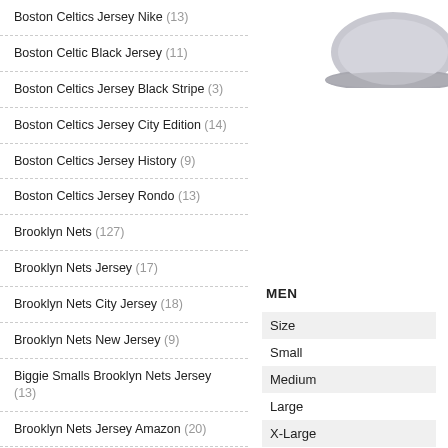Boston Celtics Jersey Nike (13)
Boston Celtic Black Jersey (11)
Boston Celtics Jersey Black Stripe (3)
Boston Celtics Jersey City Edition (14)
Boston Celtics Jersey History (9)
Boston Celtics Jersey Rondo (13)
Brooklyn Nets (127)
Brooklyn Nets Jersey (17)
Brooklyn Nets City Jersey (18)
Brooklyn Nets New Jersey (9)
Biggie Smalls Brooklyn Nets Jersey (13)
Brooklyn Nets Jersey Amazon (20)
Best Brooklyn Nets Jersey (13)
Brooklyn Nets Jersey 2013 (2)
[Figure (photo): Partial view of a grey hat or cap product image in the top right corner]
MEN
Size
Small
Medium
Large
X-Large
2X-Large
WOMEN
Size
X-Small
Small
Medium
Large